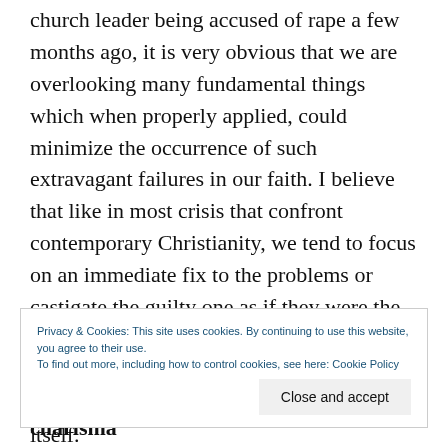church leader being accused of rape a few months ago, it is very obvious that we are overlooking many fundamental things which when properly applied, could minimize the occurrence of such extravagant failures in our faith. I believe that like in most crisis that confront contemporary Christianity, we tend to focus on an immediate fix to the problems or castigate the guilty one as if they were the latest leper in town. In effect, we are good at providing medicine to fight the symptoms, but never confront the disease itself.
Privacy & Cookies: This site uses cookies. By continuing to use this website, you agree to their use.
To find out more, including how to control cookies, see here: Cookie Policy
Close and accept
sermon to us about the importance of charisma